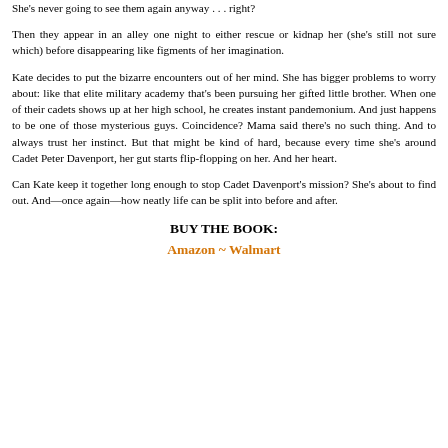She's never going to see them again anyway . . . right?
Then they appear in an alley one night to either rescue or kidnap her (she's still not sure which) before disappearing like figments of her imagination.
Kate decides to put the bizarre encounters out of her mind. She has bigger problems to worry about: like that elite military academy that's been pursuing her gifted little brother. When one of their cadets shows up at her high school, he creates instant pandemonium. And just happens to be one of those mysterious guys. Coincidence? Mama said there's no such thing. And to always trust her instinct. But that might be kind of hard, because every time she's around Cadet Peter Davenport, her gut starts flip-flopping on her. And her heart.
Can Kate keep it together long enough to stop Cadet Davenport's mission? She's about to find out. And—once again—how neatly life can be split into before and after.
BUY THE BOOK:
Amazon ~ Walmart